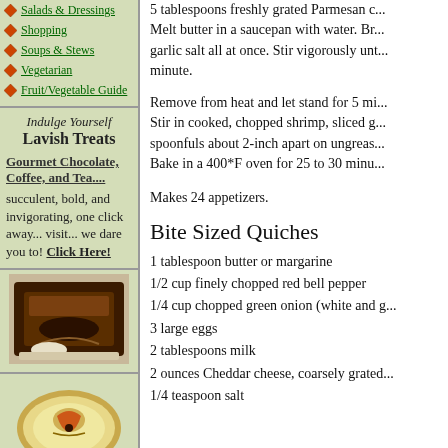Salads & Dressings
Shopping
Soups & Stews
Vegetarian
Fruit/Vegetable Guide
Indulge Yourself
Lavish Treats
Gourmet Chocolate, Coffee, and Tea.... succulent, bold, and invigorating, one click away... visit... we dare you to! Click Here!
[Figure (photo): Photo of chocolate dessert on a plate]
[Figure (photo): Photo of decorative plate with rooster design]
5 tablespoons freshly grated Parmesan c... Melt butter in a saucepan with water. Br... garlic salt all at once. Stir vigorously unt... minute.
Remove from heat and let stand for 5 mi... Stir in cooked, chopped shrimp, sliced g... spoonfuls about 2-inch apart on ungreas... Bake in a 400*F oven for 25 to 30 minu...
Makes 24 appetizers.
Bite Sized Quiches
1 tablespoon butter or margarine
1/2 cup finely chopped red bell pepper
1/4 cup chopped green onion (white and g...
3 large eggs
2 tablespoons milk
2 ounces Cheddar cheese, coarsely grated...
1/4 teaspoon salt